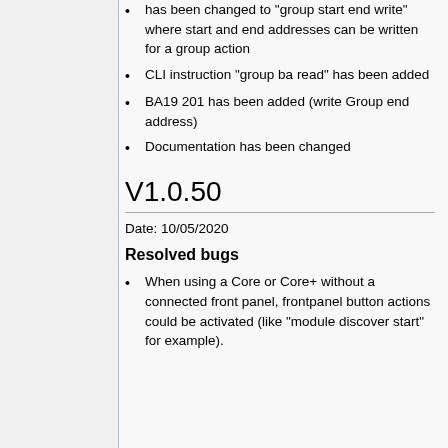has been changed to "group start end write" where start and end addresses can be written for a group action
CLI instruction "group ba read" has been added
BA19 201 has been added (write Group end address)
Documentation has been changed
V1.0.50
Date: 10/05/2020
Resolved bugs
When using a Core or Core+ without a connected front panel, frontpanel button actions could be activated (like "module discover start" for example).